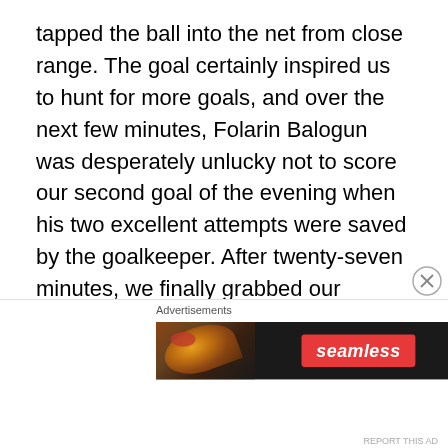tapped the ball into the net from close range. The goal certainly inspired us to hunt for more goals, and over the next few minutes, Folarin Balogun was desperately unlucky not to score our second goal of the evening when his two excellent attempts were saved by the goalkeeper. After twenty-seven minutes, we finally grabbed our second goal when Nicolas Pépé ran down the right wing and found Cédric Soares on the overlap, and he then pulled the ball back to Nicolas Pépé in the box; the Ivory Coast international took the shot and after a deflection off Callum Doyle, ended up in the top right hand corner of the net. However, three minutes later, a lack of concentration in the midfield area, saw the Black Cats grab a goal when
Advertisements
[Figure (photo): Seamless food delivery advertisement banner showing pizza on the left, Seamless logo in the center, and ORDER NOW button on the right against a dark background.]